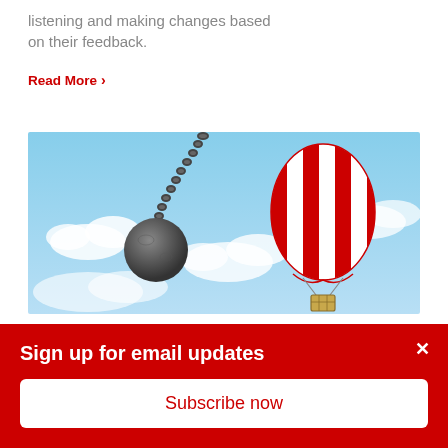listening and making changes based on their feedback.
Read More >
[Figure (illustration): A wrecking ball hanging from a chain on the left, and a red and white striped hot air balloon with a basket on the right, both set against a blue sky with white clouds.]
Sign up for email updates
Subscribe now